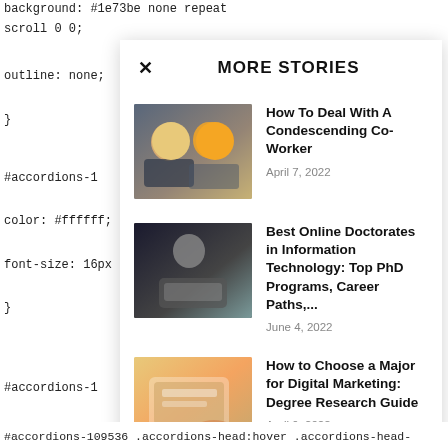background: #1e73be none repeat scroll 0 0;
outline: none;
}
#accordions-1
color: #ffffff;
font-size: 16px
}
#accordions-1
color: #ffffff;
font-size: 16px
}
MORE STORIES
[Figure (photo): Two people in a meeting, one in a blue suit, one in a yellow sweater, with a laptop]
How To Deal With A Condescending Co-Worker
April 7, 2022
[Figure (photo): Person in black shirt sitting at a table with a laptop, thinking]
Best Online Doctorates in Information Technology: Top PhD Programs, Career Paths,...
June 4, 2022
[Figure (photo): Hands using a tablet/touchscreen device with digital marketing interface]
How to Choose a Major for Digital Marketing: Degree Research Guide
April 9, 2022
#accordions-109536 .accordions-head:hover .accordions-head-